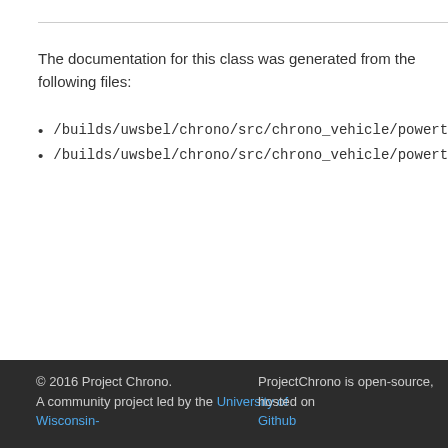The documentation for this class was generated from the following files:
/builds/uwsbel/chrono/src/chrono_vehicle/powertrain/Sh
/builds/uwsbel/chrono/src/chrono_vehicle/powertrain/Sh
© 2016 Project Chrono. A community project led by the University of Wisconsin- | ProjectChrono is open-source, hosted on Github